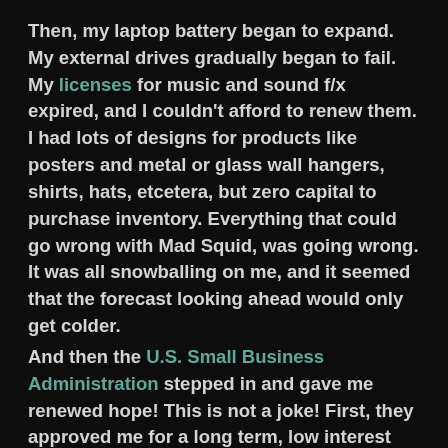Then, my laptop battery began to expand. My external drives gradually began to fail. My licenses for music and sound f/x expired, and I couldn't afford to renew them. I had lots of designs for products like posters and metal or glass wall hangers, shirts, hats, etcetera, but zero capital to purchase inventory. Everything that could go wrong with Mad Squid, was going wrong. It was all snowballing on me, and it seemed that the forecast looking ahead would only get colder.
And then the U.S. Small Business Administration stepped in and gave me renewed hope! This is not a joke! First, they approved me for a long term, low interest loan which